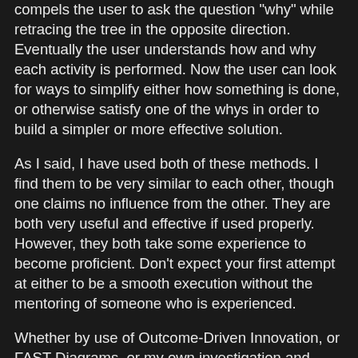compels the user to ask the question 'why' while retracing the tree in the opposite direction. Eventually the user understands how and why each activity is performed. Now the user can look for ways to simplify either how something is done, or otherwise satisfy one of the whys in order to build a simpler or more effective solution.
As I said, I have used both of these methods. I find them to be very similar to each other, though one claims no influence from the other. They are both very useful and effective if used properly. However, they both take some experience to become proficient. Don't expect your first attempt at either to be a smooth execution without the mentoring of someone who is experienced.
Whether by use of Outcome-Driven Innovation, or FAST Diagrams, or my own investigation and breakdown of customers' processes and activities, I have had great success, and have mentored teams to great success in developing highly satisfying solutions when the customers' actual activity or process is understood or addressed. It takes time and effort, and sometimes money, to gather the information, but it can mean the difference between a novel